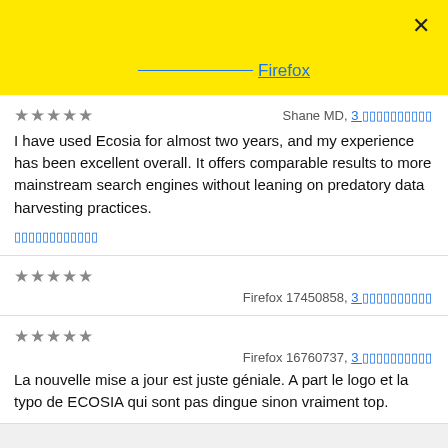[Figure (screenshot): Yellow header bar with close X button and Firefox link with underline prefix]
I have used Ecosia for almost two years, and my experience has been excellent overall. It offers comparable results to more mainstream search engines without leaning on predatory data harvesting practices.
Shane MD, 3 месяца назад (reviewer line with 5 stars)
Подробнее (more link)
Firefox 17450858, 3 месяца назад (reviewer line with 5 stars)
Firefox 16760737, 3 месяца назад (reviewer line with 5 stars)
La nouvelle mise a jour est juste géniale. A part le logo et la typo de ECOSIA qui sont pas dingue sinon vraiment top.